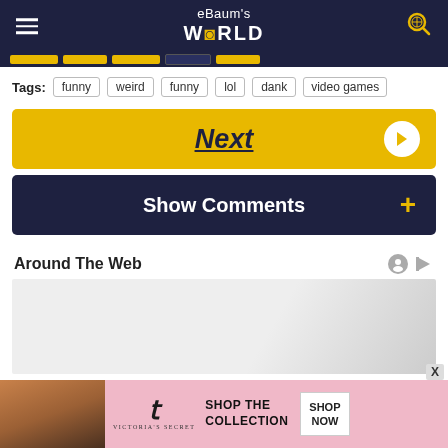eBaum's World
Tags: funny  weird  funny  lol  dank  video games
Next
Show Comments +
Around The Web
[Figure (screenshot): Light gray placeholder content area below Around The Web heading]
[Figure (photo): Victoria's Secret advertisement banner at bottom with SHOP THE COLLECTION and SHOP NOW button]